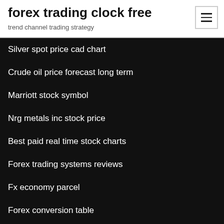forex trading clock free
trend channel trading strategy
Silver spot price cad chart
Crude oil price forecast long term
Marriott stock symbol
Nrg metals inc stock price
Best paid real time stock charts
Forex trading systems reviews
Fx economy parcel
Forex conversion table
Best forex analysis tools
Stock exchange shares tips